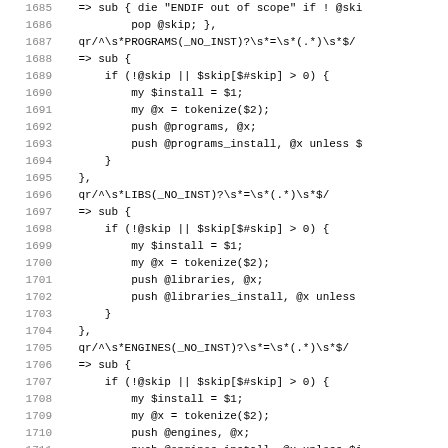[Figure (screenshot): Source code listing in monospace font showing Perl code with line numbers 1685-1716, containing regex patterns and subroutine definitions for PROGRAMS, LIBS, ENGINES, and SCRIPTS handling with skip logic and tokenize calls.]